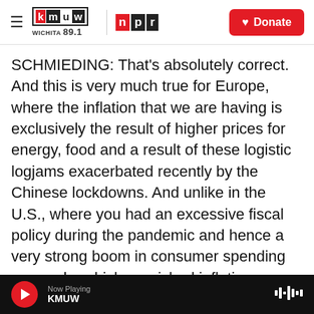KMUW WICHITA 89.1 | NPR | Donate
SCHMIEDING: That's absolutely correct. And this is very much true for Europe, where the inflation that we are having is exclusively the result of higher prices for energy, food and a result of these logistic logjams exacerbated recently by the Chinese lockdowns. And unlike in the U.S., where you had an excessive fiscal policy during the pandemic and hence a very strong boom in consumer spending on goods, which nourished inflation, Europe does not have that. Our inflation is high. It's almost as high as in the U.S. But that's because we are more exposed to the sky-high prices for energy, including
Now Playing KMUW